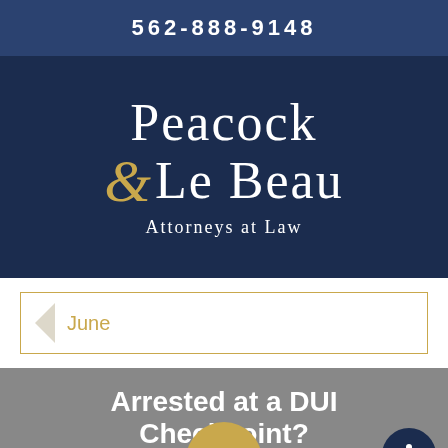562-888-9148
[Figure (logo): Peacock & Le Beau Attorneys at Law logo on dark navy background. Large serif text with golden ampersand.]
Peacock & Le Beau Attorneys at Law
June
Arrested at a DUI Checkpoint?
Jun 14